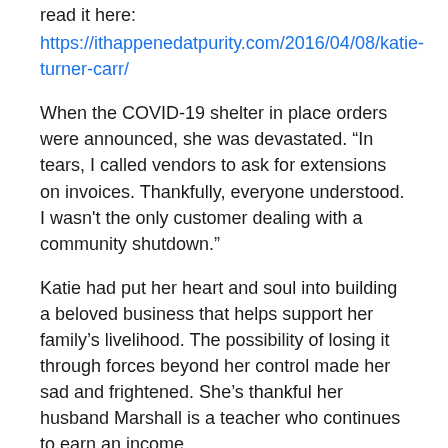read it here:
https://ithappenedatpurity.com/2016/04/08/katie-turner-carr/
When the COVID-19 shelter in place orders were announced, she was devastated. “In tears, I called vendors to ask for extensions on invoices. Thankfully, everyone understood. I wasn't the only customer dealing with a community shutdown.”
Katie had put her heart and soul into building a beloved business that helps support her family’s livelihood. The possibility of losing it through forces beyond her control made her sad and frightened. She’s thankful her husband Marshall is a teacher who continues to earn an income.
“After a few days, I came to terms with the shutdown being something I can’t fix and I began to adapt. I announced on